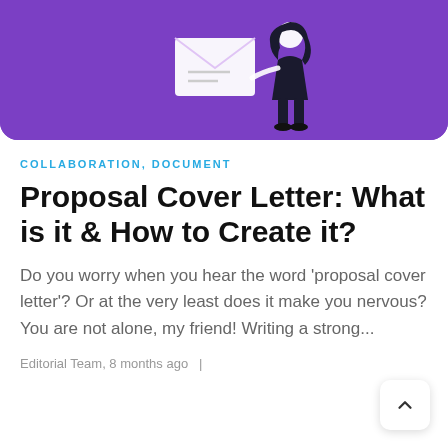[Figure (illustration): Purple banner with illustration of a woman standing next to a large envelope on a purple background]
COLLABORATION, DOCUMENT
Proposal Cover Letter: What is it & How to Create it?
Do you worry when you hear the word 'proposal cover letter'? Or at the very least does it make you nervous? You are not alone, my friend! Writing a strong...
Editorial Team, 8 months ago  |